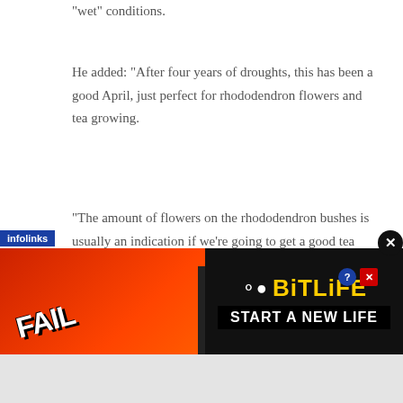“wet” conditions.
He added: “After four years of droughts, this has been a good April, just perfect for rhododendron flowers and tea growing.
“The amount of flowers on the rhododendron bushes is usually an indication if we’re going to get a good tea harvest – and we certainly have.
“We think we’re going to have a bumper spring harvest this year.”
[Figure (screenshot): Advertisement banner: infolinks bar at top-left, BitLife game ad with 'FAIL' text, emoji character, flame graphic, sperm icon, 'BiTLiFE' logo in yellow, 'START A NEW LIFE' text on black background. Close buttons visible.]